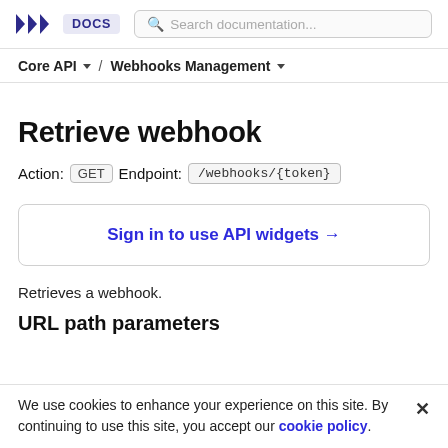>>> DOCS  Search documentation...
Core API ▼  /  Webhooks Management ▼
Retrieve webhook
Action: GET  Endpoint: /webhooks/{token}
Sign in to use API widgets →
Retrieves a webhook.
URL path parameters
We use cookies to enhance your experience on this site. By continuing to use this site, you accept our cookie policy.